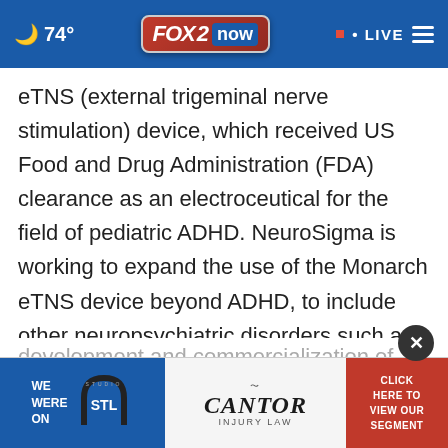FOX 2 NOW | 74° | LIVE
eTNS (external trigeminal nerve stimulation) device, which received US Food and Drug Administration (FDA) clearance as an electroceutical for the field of pediatric ADHD. NeuroSigma is working to expand the use of the Monarch eTNS device beyond ADHD, to include other neuropsychiatric disorders such as depression and drug-resistant epilepsy. KT and NeuroSigma are cooperating to advance the development and commercialization of the next-[generation] and
[Figure (screenshot): Advertisement banner showing Studio STL on Fox 2 Now with Cantor Injury Law and a 'Click Here to View Our Segment' button]